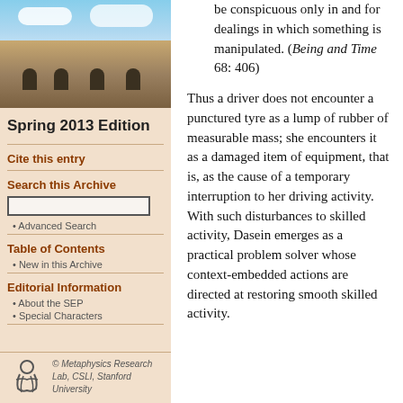[Figure (photo): Photo of a stone university building (quadrangle) with arched windows under a partly cloudy blue sky]
Spring 2013 Edition
Cite this entry
Search this Archive
Advanced Search
Table of Contents
New in this Archive
Editorial Information
About the SEP
Special Characters
[Figure (logo): Metaphysics Research Lab logo — stylized figure]
© Metaphysics Research Lab, CSLI, Stanford University
be conspicuous only in and for dealings in which something is manipulated. (Being and Time 68: 406)
Thus a driver does not encounter a punctured tyre as a lump of rubber of measurable mass; she encounters it as a damaged item of equipment, that is, as the cause of a temporary interruption to her driving activity. With such disturbances to skilled activity, Dasein emerges as a practical problem solver whose context-embedded actions are directed at restoring smooth skilled activity.